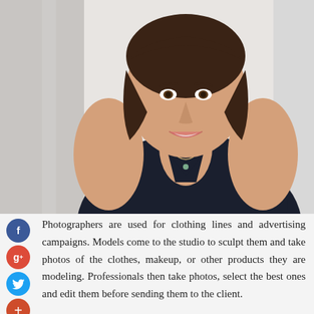[Figure (photo): Portrait photo of a smiling woman with short dark hair wearing a dark sleeveless top and layered necklaces, photographed from the chest up against a light background.]
Photographers are used for clothing lines and advertising campaigns. Models come to the studio to sculpt them and take photos of the clothes, makeup, or other products they are modeling. Professionals then take photos, select the best ones and edit them before sending them to the client.
It is best to find a professional photographer who